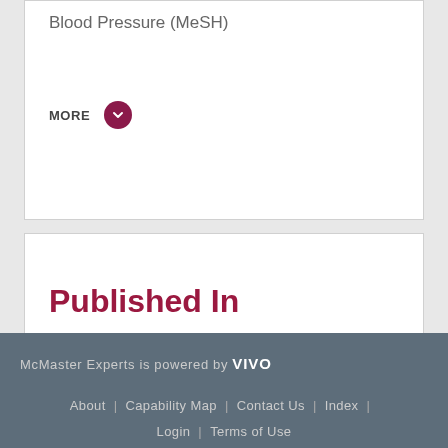Blood Pressure (MeSH)
MORE
Published In
American Journal of Preventive Medicine Journal
McMaster Experts is powered by VIVO | About | Capability Map | Contact Us | Index | Login | Terms of Use